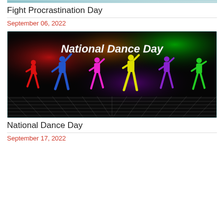[Figure (illustration): Partial top image stub visible at top of page (cropped from previous entry)]
Fight Procrastination Day
September 06, 2022
[Figure (illustration): National Dance Day promotional image showing colorful silhouettes of dancers (red, blue, pink, yellow, purple, green) on a dark background with disco floor, text reads 'National Dance Day']
National Dance Day
September 17, 2022